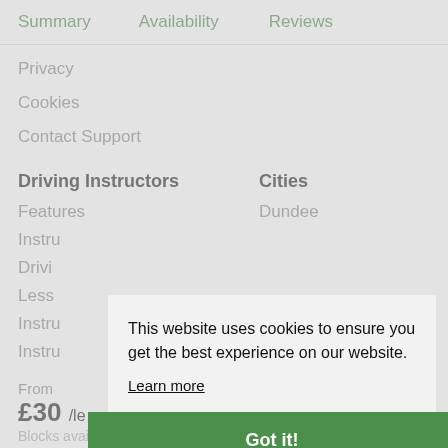Summary  Availability  Reviews
Privacy
Cookies
Contact Support
Driving Instructors
Cities
Features
Dundee
Instru...
Drivi...
Less...
Instru...
Instru...
From
£30 /le
Blocks available
This website uses cookies to ensure you get the best experience on our website. Learn more
Got it!